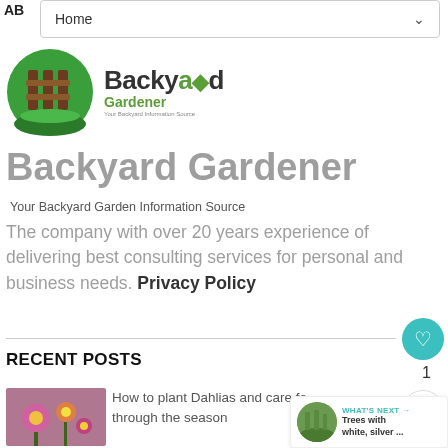AB
[Figure (screenshot): Navigation bar with 'Home' label and chevron dropdown]
[Figure (logo): Backyard Gardener logo with circular fence/grass icon and green leaf in text]
Backyard Gardener
Your Backyard Garden Information Source
The company with over 20 years experience of delivering best consulting services for personal and business needs. Privacy Policy
RECENT POSTS
[Figure (photo): Thumbnail photo of dahlia flowers, pink and yellow]
How to plant Dahlias and care for them through the season
[Figure (photo): What's Next panel thumbnail showing trees/grass]